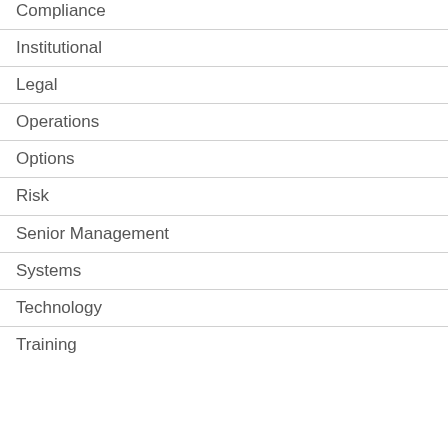Compliance
Institutional
Legal
Operations
Options
Risk
Senior Management
Systems
Technology
Training